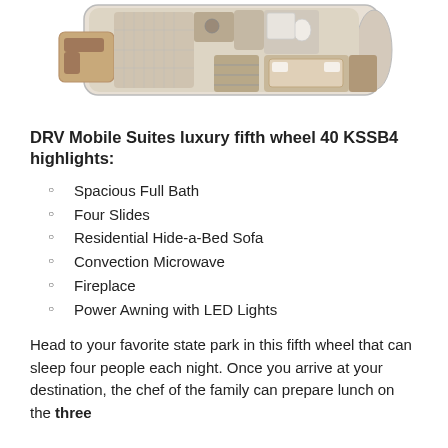[Figure (schematic): Top-down floor plan of DRV Mobile Suites fifth wheel 40 KSSB4 RV showing interior layout with living areas, bath, bedroom, and slide-outs]
DRV Mobile Suites luxury fifth wheel 40 KSSB4 highlights:
Spacious Full Bath
Four Slides
Residential Hide-a-Bed Sofa
Convection Microwave
Fireplace
Power Awning with LED Lights
Head to your favorite state park in this fifth wheel that can sleep four people each night. Once you arrive at your destination, the chef of the family can prepare lunch on the three